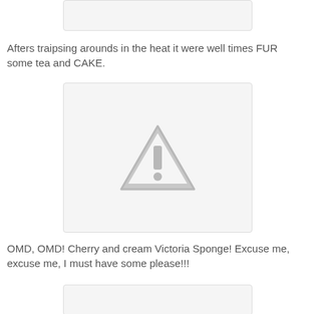[Figure (photo): Partial image placeholder at top of page]
Afters traipsing arounds in the heat it were well times FUR some tea and CAKE.
[Figure (photo): Image placeholder with warning/missing image triangle icon in center]
OMD, OMD! Cherry and cream Victoria Sponge! Excuse me, excuse me, I must have some please!!!
[Figure (photo): Partial image placeholder at bottom of page]